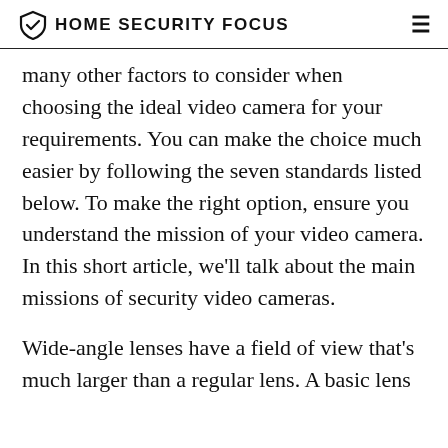HOME SECURITY FOCUS
many other factors to consider when choosing the ideal video camera for your requirements. You can make the choice much easier by following the seven standards listed below. To make the right option, ensure you understand the mission of your video camera. In this short article, we'll talk about the main missions of security video cameras.
Wide-angle lenses have a field of view that's much larger than a regular lens. A basic lens